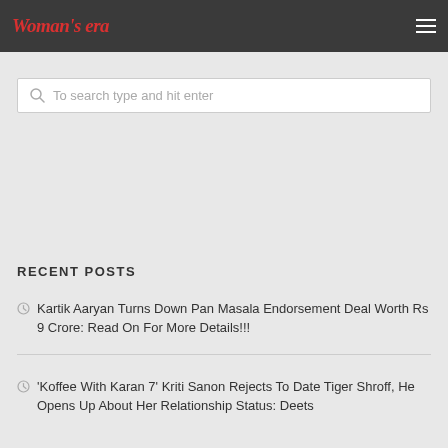Woman's era
To search type and hit enter
RECENT POSTS
Kartik Aaryan Turns Down Pan Masala Endorsement Deal Worth Rs 9 Crore: Read On For More Details!!!
'Koffee With Karan 7' Kriti Sanon Rejects To Date Tiger Shroff, He Opens Up About Her Relationship Status: Deets